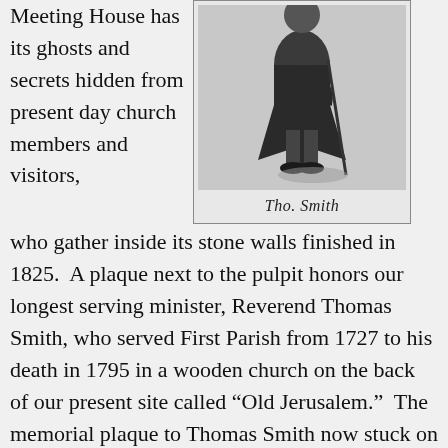Meeting House has its ghosts and secrets hidden from present day church members and visitors,
[Figure (illustration): Black and white illustration of a standing figure (Reverend Thomas Smith) in colonial-era clothing, holding a cane or staff, with a signature below reading 'Tho. Smith']
Tho. Smith
who gather inside its stone walls finished in 1825.  A plaque next to the pulpit honors our longest serving minister, Reverend Thomas Smith, who served First Parish from 1727 to his death in 1795 in a wooden church on the back of our present site called “Old Jerusalem.”  The memorial plaque to Thomas Smith now stuck on the Meeting House wall says nothing, however, about Reverend Smith and other early First Parish leaders profiting from